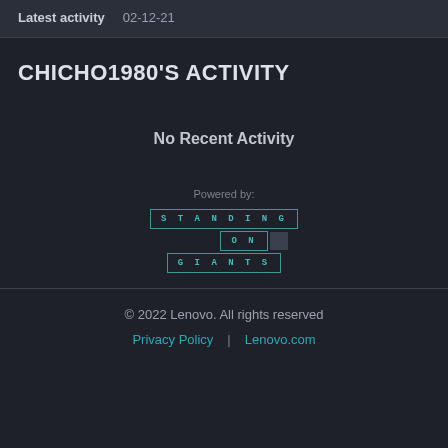Latest activity   02-12-21
CHICHO1980'S ACTIVITY
No Recent Activity
[Figure (logo): Standing on Giants logo — 'Powered by:' text above a teal-bordered letter-spaced logo with STANDING on top row, ON in middle row, GIANTS on bottom row]
© 2022 Lenovo. All rights reserved
Privacy Policy | Lenovo.com